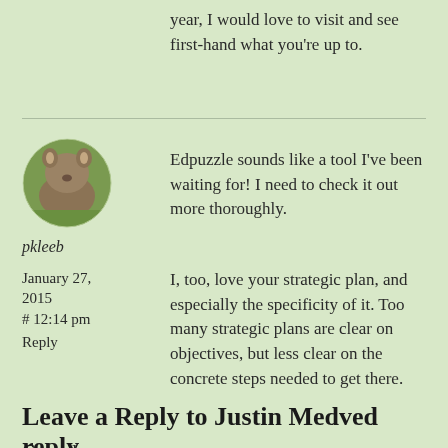year, I would love to visit and see first-hand what you're up to.
[Figure (photo): Circular avatar image of a wombat or small animal on grass]
pkleeb
January 27, 2015
# 12:14 pm
Reply
Edpuzzle sounds like a tool I've been waiting for! I need to check it out more thoroughly.
I, too, love your strategic plan, and especially the specificity of it. Too many strategic plans are clear on objectives, but less clear on the concrete steps needed to get there.
Leave a Reply to Justin Medved Cancel reply